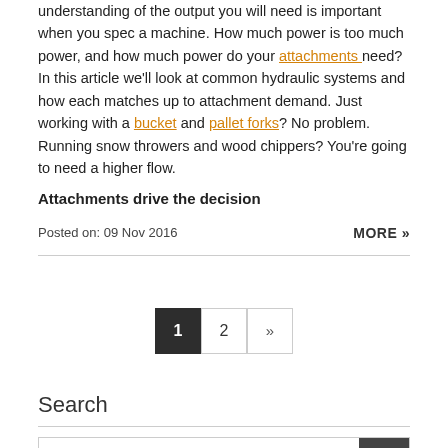understanding of the output you will need is important when you spec a machine. How much power is too much power, and how much power do your attachments need? In this article we'll look at common hydraulic systems and how each matches up to attachment demand. Just working with a bucket and pallet forks? No problem. Running snow throwers and wood chippers? You're going to need a higher flow.
Attachments drive the decision
Posted on: 09 Nov 2016
MORE »
1  2  »
Search
Enter keyword/s